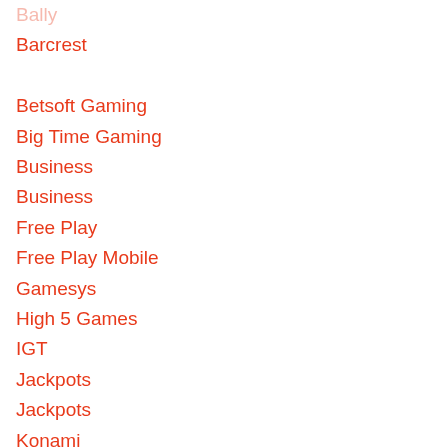Bally
Barcrest
Betsoft Gaming
Big Time Gaming
Business
Business
Free Play
Free Play Mobile
Gamesys
High 5 Games
IGT
Jackpots
Jackpots
Konami
Land based slots
Land based slots
Leander Games
Merkur
Microgaming